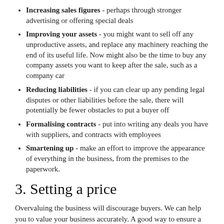Increasing sales figures - perhaps through stronger advertising or offering special deals
Improving your assets - you might want to sell off any unproductive assets, and replace any machinery reaching the end of its useful life. Now might also be the time to buy any company assets you want to keep after the sale, such as a company car
Reducing liabilities - if you can clear up any pending legal disputes or other liabilities before the sale, there will potentially be fewer obstacles to put a buyer off
Formalising contracts - put into writing any deals you have with suppliers, and contracts with employees
Smartening up - make an effort to improve the appearance of everything in the business, from the premises to the paperwork.
3. Setting a price
Overvaluing the business will discourage buyers. We can help you to value your business accurately. A good way to ensure a high price is to create competition between potential buyers.